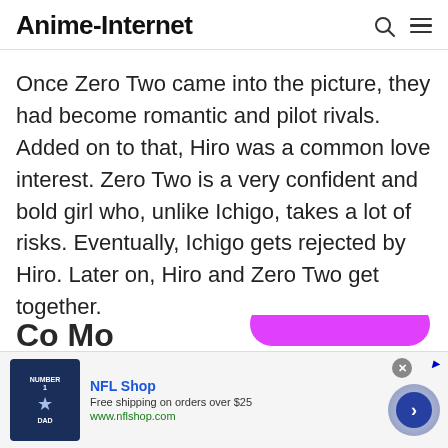Anime-Internet
Once Zero Two came into the picture, they had become romantic and pilot rivals. Added on to that, Hiro was a common love interest. Zero Two is a very confident and bold girl who, unlike Ichigo, takes a lot of risks. Eventually, Ichigo gets rejected by Hiro. Later on, Hiro and Zero Two get together.
[Figure (screenshot): Partial view of a section header text cut off at bottom of page, with a magenta/pink rounded button partially visible]
[Figure (screenshot): Advertisement banner for NFL Shop showing a Dallas Cowboys jersey, text 'NFL Shop', 'Free shipping on orders over $25', 'www.nflshop.com', with a forward arrow button and close button]